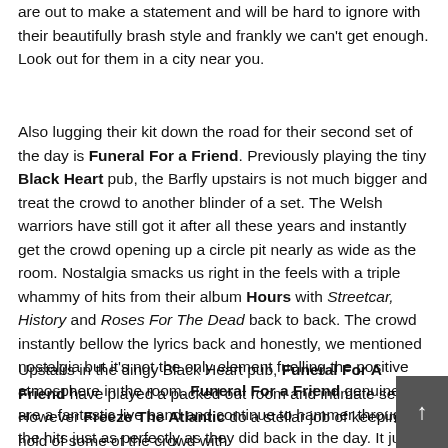are out to make a statement and will be hard to ignore with their beautifully brash style and frankly we can't get enough. Look out for them in a city near you.
Also lugging their kit down the road for their second set of the day is Funeral For a Friend. Previously playing the tiny Black Heart pub, the Barfly upstairs is not much bigger and treat the crowd to another blinder of a set. The Welsh warriors have still got it after all these years and instantly get the crowd opening up a circle pit nearly as wide as the room. Nostalgia smacks us right in the feels with a triple whammy of hits from their album Hours with Streetcar, History and Roses For The Dead back to back. The crowd instantly bellow the lyrics back and honestly, we mentioned nostalgia but it's not the only element fuelling the positive atmosphere in the room. Funeral For a Friend genuinely are a fantastic live band and continue to hammer through the hits just as perfectly as they did back in the day. It just leaves us thinking, what have they got up their sleeves for their final set of the day?
Upstairs in the dingy Black Heart pub, Funeral For A Friend have played a packed out room and intimate set. However Freeze The Atlantic do a stellar job of keeping hold of some of the crowd with